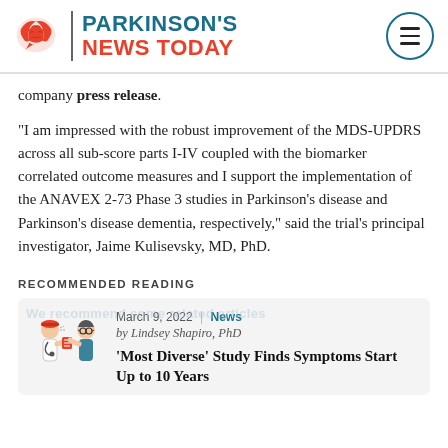PARKINSON'S NEWS TODAY
company press release.
“I am impressed with the robust improvement of the MDS-UPDRS across all sub-score parts I-IV coupled with the biomarker correlated outcome measures and I support the implementation of the ANAVEX 2-73 Phase 3 studies in Parkinson’s disease and Parkinson’s disease dementia, respectively,” said the trial’s principal investigator, Jaime Kulisevsky, MD, PhD.
RECOMMENDED READING
[Figure (illustration): Illustration of two medical professionals, one speaking and one listening, used as thumbnail for recommended reading article]
March 9, 2022 | News
by Lindsey Shapiro, PhD
‘Most Diverse’ Study Finds Symptoms Start Up to 10 Years